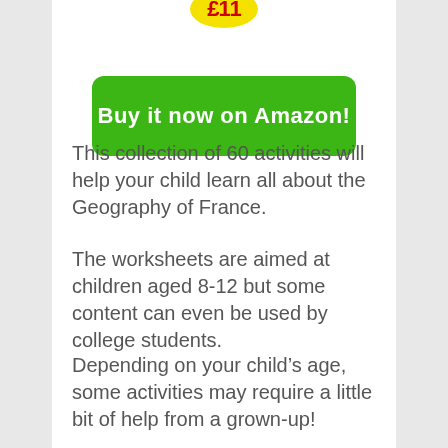[Figure (other): Yellow circular price badge showing £11 in red bold text]
[Figure (other): Green rounded rectangle button with white bold text 'Buy it now on Amazon!']
This collection of 60 activities will help your child learn all about the Geography of France.
The worksheets are aimed at children aged 8-12 but some content can even be used by college students.
Depending on your child's age, some activities may require a little bit of help from a grown-up!